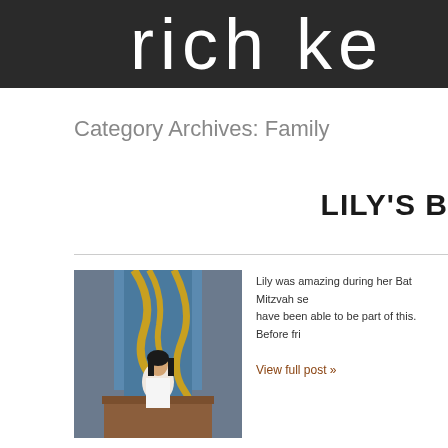rich ke
Category Archives: Family
LILY'S B
[Figure (photo): A young woman in a white dress standing at a podium or bimah in a synagogue, with ornate golden metalwork and blue stained glass visible behind her.]
Lily was amazing during her Bat Mitzvah se have been able to be part of this. Before fri
View full post »